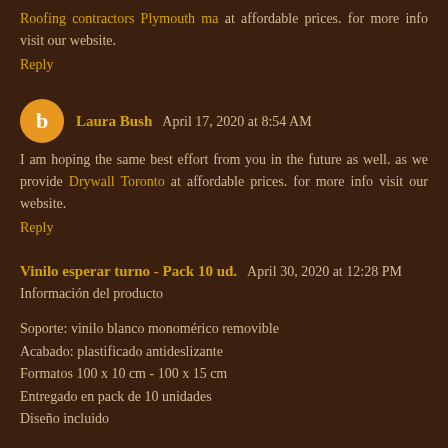Roofing contractors Plymouth ma at affordable prices. for more info visit our website.
Reply
Laura Bush  April 17, 2020 at 8:54 AM
I am hoping the same best effort from you in the future as well. as we provide Drywall Toronto at affordable prices. for more info visit our website.
Reply
Vinilo esperar turno - Pack 10 ud.  April 30, 2020 at 12:28 PM
Información del producto
Soporte: vinilo blanco monomérico removible
Acabado: plastificado antideslizante
Formatos 100 x 10 cm - 100 x 15 cm
Entregado en pack de 10 unidades
Diseño incluido